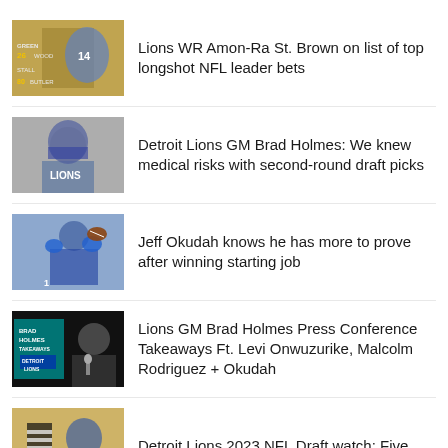Lions WR Amon-Ra St. Brown on list of top longshot NFL leader bets
Detroit Lions GM Brad Holmes: We knew medical risks with second-round draft picks
Jeff Okudah knows he has more to prove after winning starting job
Lions GM Brad Holmes Press Conference Takeaways Ft. Levi Onwuzurike, Malcolm Rodriguez + Okudah
Detroit Lions 2023 NFL Draft watch: Five